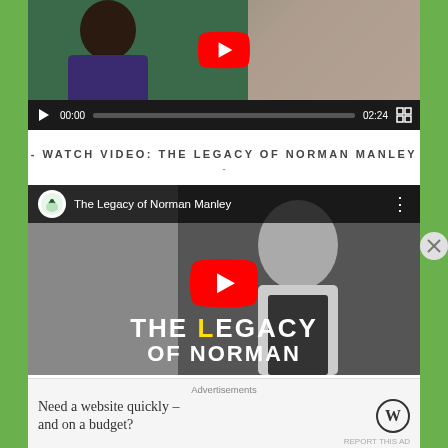[Figure (screenshot): Video player showing a woman in a blue dress against a floral background, with playback controls showing 00:00 / 02:24]
- WATCH VIDEO: THE LEGACY OF NORMAN MANLEY -
[Figure (screenshot): YouTube video embed titled 'The Legacy of Norman Manley' showing black-and-white image with text overlay 'THE LEGACY OF NORMAN' and a red YouTube play button]
Advertisements
Need a website quickly – and on a budget?